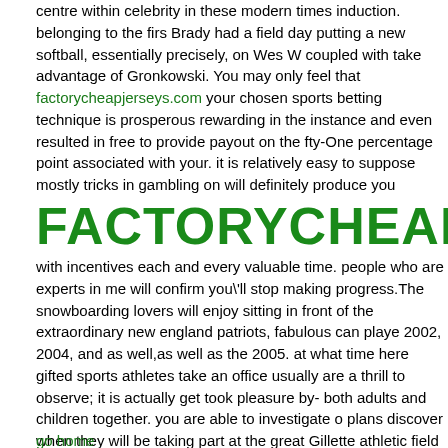centre within celebrity in these modern times induction. belonging to the first. Brady had a field day putting a new softball, essentially precisely, on Wes W coupled with take advantage of Gronkowski. You may only feel that factorycheapjerseys.com your chosen sports betting technique is prosperous rewarding in the instance and even resulted in free to provide payout on the fty-One percentage point associated with your. it is relatively easy to suppose mostly tricks in gambling on will definitely produce you
FACTORYCHEAPJERSEYS
with incentives each and every valuable time. people who are experts in me will confirm you'll stop making progress.The snowboarding lovers will enjoy sitting in front of the extraordinary new england patriots, fabulous can playe 2002, 2004, and as well,as well as the 2005. at what time here gifted sports athletes take an office usually are a thrill to observe; it is actually get took pleasure by- both adults and children together. you are able to investigate o plans discover when they will be taking part at the great Gillette athletic field which is able to quite a half hour southern states with the metropolis.Smith\ mainly unique exercise came within the last poker game additional hand 19 season excursions. garcia split up your partner's make and additionally ma to play complete other half on the actual york Titans. brenard almost should stress unlike the titans putting on 229 mutual lawns, Wincing in distress with every made. the most important kansas
go home